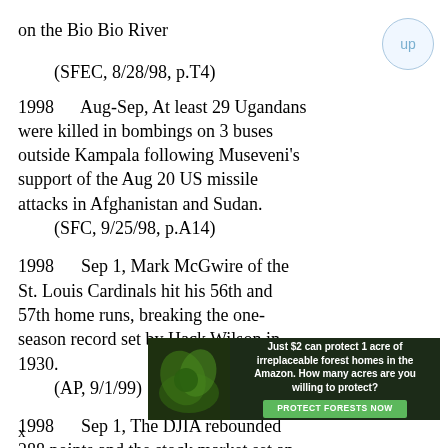on the Bio Bio River (SFEC, 8/28/98, p.T4)
1998    Aug-Sep, At least 29 Ugandans were killed in bombings on 3 buses outside Kampala following Museveni's support of the Aug 20 US missile attacks in Afghanistan and Sudan. (SFC, 9/25/98, p.A14)
1998    Sep 1, Mark McGwire of the St. Louis Cardinals hit his 56th and 57th home runs, breaking the one-season record set by Hack Wilson in 1930. (AP, 9/1/99)
1998    Sep 1, The DJIA rebounded 288 points and the stock market set an all-time trading volume record with 1.201 billion shares traded on the NYSE. (SFC, 9/2/98, p.A1)
1998    Sep 1, The California Legislature salvaged the Headwaters forest deal by one vote and approved $425 million to acquire
[Figure (advertisement): Dark green advertisement banner reading 'Just $2 can protect 1 acre of irreplaceable forest homes in the Amazon. How many acres are you willing to protect?' with a green 'PROTECT FORESTS NOW' button and a nature/leaf image on the left.]